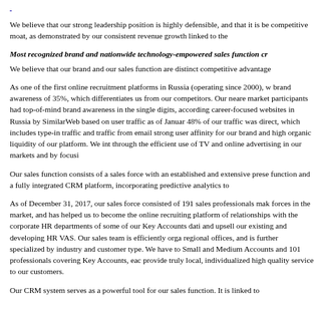[link/header text at top]
We believe that our strong leadership position is highly defensible, and that it is be competitive moat, as demonstrated by our consistent revenue growth linked to the
Most recognized brand and nationwide technology-empowered sales function cr
We believe that our brand and our sales function are distinct competitive advantage
As one of the first online recruitment platforms in Russia (operating since 2000), w brand awareness of 35%, which differentiates us from our competitors. Our neare market participants had top-of-mind brand awareness in the single digits, according career-focused websites in Russia by SimilarWeb based on user traffic as of Januar 48% of our traffic was direct, which includes type-in traffic and traffic from email strong user affinity for our brand and high organic liquidity of our platform. We int through the efficient use of TV and online advertising in our markets and by focusi
Our sales function consists of a sales force with an established and extensive prese function and a fully integrated CRM platform, incorporating predictive analytics to
As of December 31, 2017, our sales force consisted of 191 sales professionals mak forces in the market, and has helped us to become the online recruiting platform of relationships with the corporate HR departments of some of our Key Accounts dati and upsell our existing and developing HR VAS. Our sales team is efficiently orga regional offices, and is further specialized by industry and customer type. We have to Small and Medium Accounts and 101 professionals covering Key Accounts, eac provide truly local, individualized high quality service to our customers.
Our CRM system serves as a powerful tool for our sales function. It is linked to